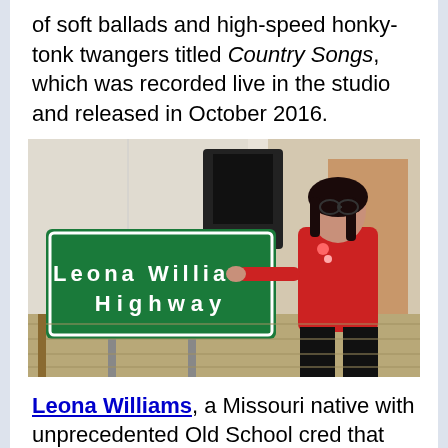of soft ballads and high-speed honky-tonk twangers titled Country Songs, which was recorded live in the studio and released in October 2016.
[Figure (photo): A woman in a red shirt standing next to a large green highway sign that reads 'Leona Williams Highway' inside what appears to be an indoor venue.]
Leona Williams, a Missouri native with unprecedented Old School cred that includes a Top 10 duet with Merle